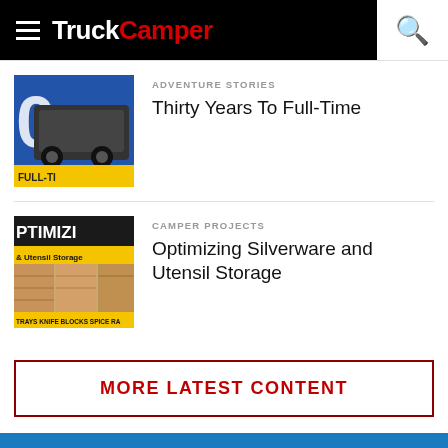TruckCamper
ADVENTURE STORIES
Thirty Years To Full-Time
CAMPER PROJECTS
Optimizing Silverware and Utensil Storage
MORE LATEST CONTENT
[Figure (infographic): Find A Dealer banner with blue background, white bold text, and a map below]